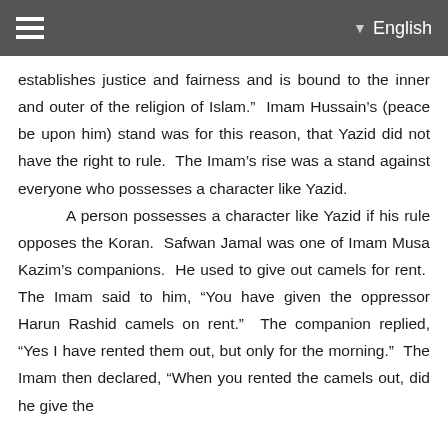≡  ▾ English
establishes justice and fairness and is bound to the inner and outer of the religion of Islam."  Imam Hussain's (peace be upon him) stand was for this reason, that Yazid did not have the right to rule.  The Imam's rise was a stand against everyone who possesses a character like Yazid.

A person possesses a character like Yazid if his rule opposes the Koran.  Safwan Jamal was one of Imam Musa Kazim's companions.  He used to give out camels for rent.  The Imam said to him, "You have given the oppressor Harun Rashid camels on rent."  The companion replied, "Yes I have rented them out, but only for the morning."  The Imam then declared, "When you rented the camels out, did he give the